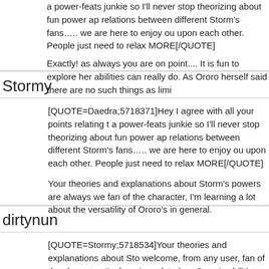a power-feats junkie so I'll never stop theorizing about fun power ap relations between different Storm's fans….. we are here to enjoy ou upon each other. People just need to relax MORE[/QUOTE]
Exactly! as always you are on point.... It is fun to explore her abilities can really do. As Ororo herself said there are no such things as limi
Stormy
[QUOTE=Daedra;5718371]Hey I agree with all your points relating t a power-feats junkie so I'll never stop theorizing about fun power ap relations between different Storm's fans….. we are here to enjoy ou upon each other. People just need to relax MORE[/QUOTE]
Your theories and explanations about Storm's powers are always we fan of the character, I'm learning a lot about the versatility of Ororo's in general.
dirtynun
[QUOTE=Stormy;5718534]Your theories and explanations about Sto welcome, from any user, fan of the character, I'm learning a lot abou Ororo's abilities, thanks to you in general.[/QUOTE]